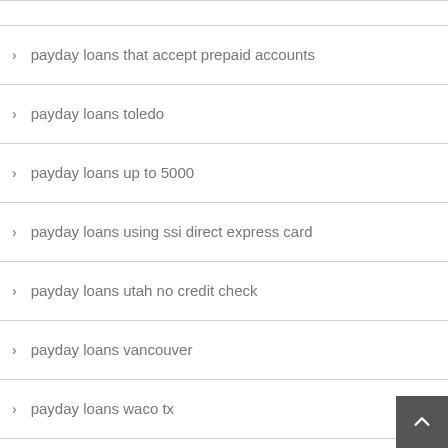payday loans that accept prepaid accounts
payday loans toledo
payday loans up to 5000
payday loans using ssi direct express card
payday loans utah no credit check
payday loans vancouver
payday loans waco tx
payday loans waipahu
payday loans weekend payout